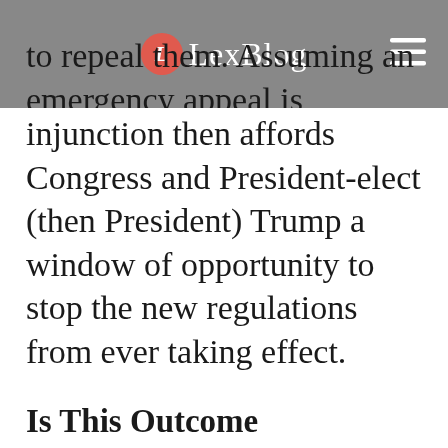LexBlog
to repeal them. Assuming an emergency appeal is unsuccessful, the preliminary injunction then affords Congress and President-elect (then President) Trump a window of opportunity to stop the new regulations from ever taking effect.
Is This Outcome Guaranteed?
Not at all, but it is likely given the views expressed by the incoming administration. If for some reason the new administration does not act and the 5th Circuit chooses to reinstate the regulations they would only go into effect after the decision is made. If the 5th Circuit